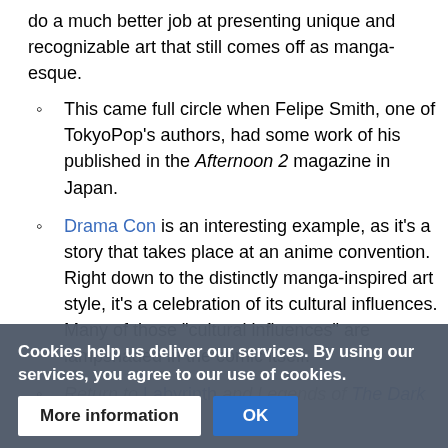do a much better job at presenting unique and recognizable art that still comes off as manga-esque.
This came full circle when Felipe Smith, one of TokyoPop's authors, had some work of his published in the Afternoon 2 magazine in Japan.
Drama Con is an interesting example, as it's a story that takes place at an anime convention. Right down to the distinctly manga-inspired art style, it's a celebration of its cultural influences. Many of those "cultural influences" are lampshaded in the comic itself.
Return to Labyrinth and Legends of The Dark Crystal...
Cookies help us deliver our services. By using our services, you agree to our use of cookies.